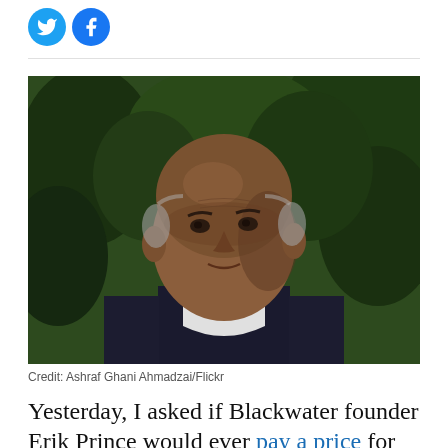[Figure (photo): Portrait photograph of Ashraf Ghani Ahmadzai, an older man with a bald head, wearing a white shirt and dark vest, with green foliage in the background.]
Credit: Ashraf Ghani Ahmadzai/Flickr
Yesterday, I asked if Blackwater founder Erik Prince would ever pay a price for perjuring